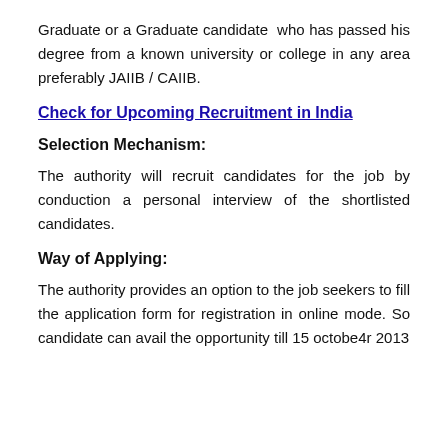Graduate or a Graduate candidate who has passed his degree from a known university or college in any area preferably JAIIB / CAIIB.
Check for Upcoming Recruitment in India
Selection Mechanism:
The authority will recruit candidates for the job by conduction a personal interview of the shortlisted candidates.
Way of Applying:
The authority provides an option to the job seekers to fill the application form for registration in online mode. So candidate can avail the opportunity till 15 octobe4r 2013